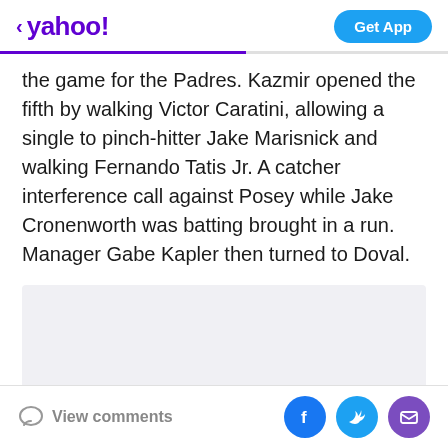< yahoo! | Get App
the game for the Padres. Kazmir opened the fifth by walking Victor Caratini, allowing a single to pinch-hitter Jake Marisnick and walking Fernando Tatis Jr. A catcher interference call against Posey while Jake Cronenworth was batting brought in a run. Manager Gabe Kapler then turned to Doval.
[Figure (other): Advertisement placeholder box]
View comments | Facebook | Twitter | Mail